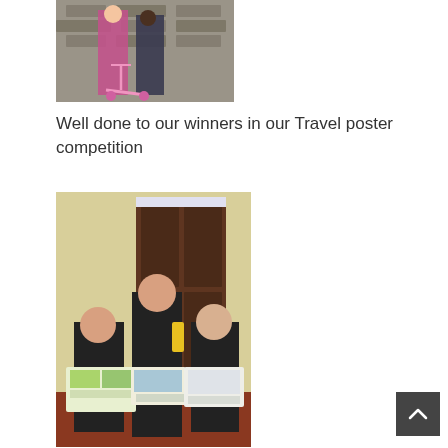[Figure (photo): Two children standing outside near a stone wall with a pink scooter]
Well done to our winners in our Travel poster competition
[Figure (photo): Three children indoors holding posters/drawings, standing in front of a dark wooden door]